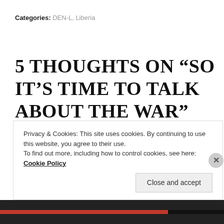Categories: DEN-L, Liberia
5 THOUGHTS ON “SO IT’S TIME TO TALK ABOUT THE WAR”
[Figure (illustration): Teal geometric mandala-style avatar icon for user Matt]
MATT
June 16, 2009 at 3:11 pm
Privacy & Cookies: This site uses cookies. By continuing to use this website, you agree to their use.
To find out more, including how to control cookies, see here: Cookie Policy
Close and accept